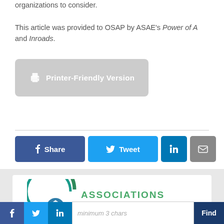organizations to consider.
This article was provided to OSAP by ASAE's Power of A and Inroads.
[Figure (other): Printer-Friendly Version button with printer icon]
[Figure (other): Social share buttons: Facebook Share, Twitter Tweet, LinkedIn, Email]
[Figure (logo): Associations Advance Ohio logo with green circular icon]
[Figure (other): Bottom navigation bar with Facebook, Twitter, LinkedIn icons, search field with 'minimum 3 chars' placeholder, and Find button]